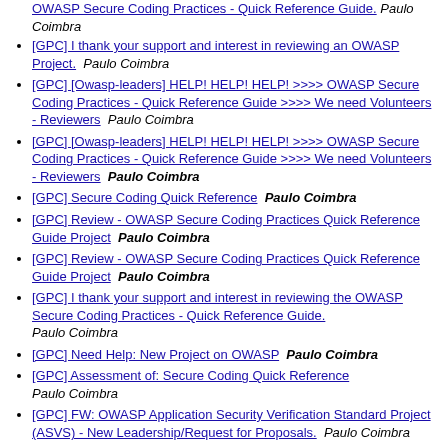OWASP Secure Coding Practices - Quick Reference Guide.  Paulo Coimbra
[GPC] I thank your support and interest in reviewing an OWASP Project.  Paulo Coimbra
[GPC] [Owasp-leaders] HELP! HELP! HELP! >>>> OWASP Secure Coding Practices - Quick Reference Guide >>>> We need Volunteers - Reviewers  Paulo Coimbra
[GPC] [Owasp-leaders] HELP! HELP! HELP! >>>> OWASP Secure Coding Practices - Quick Reference Guide >>>> We need Volunteers - Reviewers  Paulo Coimbra
[GPC] Secure Coding Quick Reference  Paulo Coimbra
[GPC] Review - OWASP Secure Coding Practices Quick Reference Guide Project  Paulo Coimbra
[GPC] Review - OWASP Secure Coding Practices Quick Reference Guide Project  Paulo Coimbra
[GPC] I thank your support and interest in reviewing the OWASP Secure Coding Practices - Quick Reference Guide.  Paulo Coimbra
[GPC] Need Help: New Project on OWASP  Paulo Coimbra
[GPC] Assessment of: Secure Coding Quick Reference  Paulo Coimbra
[GPC] FW: OWASP Application Security Verification Standard Project (ASVS) - New Leadership/Request for Proposals.  Paulo Coimbra
[GPC] Assessment of: Secure Coding Quick Reference